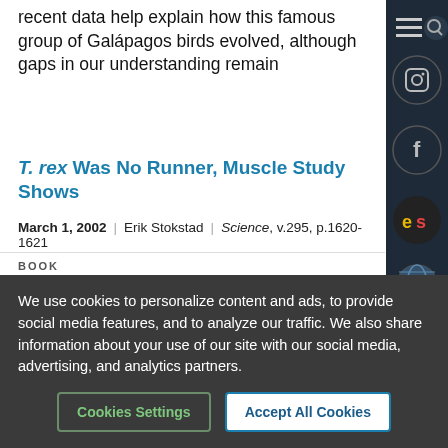recent data help explain how this famous group of Galápagos birds evolved, although gaps in our understanding remain
T. rex Was No Runner, Muscle Study Shows
March 1, 2002 | Erik Stokstad | Science, v.295, p.1620-1621
BOOK
Catastrophe and Culture: The Anthropology of Disaster
March 1, 2002
Susanna M. Hoffman and Anthony Oliver-Smith, eds.
We use cookies to personalize content and ads, to provide social media features, and to analyze our traffic. We also share information about your use of our site with our social media, advertising, and analytics partners.
Cookies Settings
Accept All Cookies